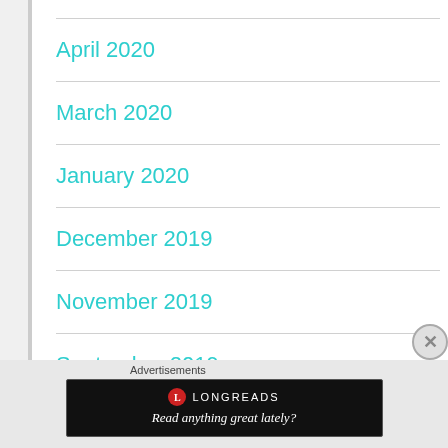April 2020
March 2020
January 2020
December 2019
November 2019
September 2019
July 2019
Advertisements
[Figure (other): Longreads advertisement banner. Black background with Longreads logo (red circle with L) and text 'Read anything great lately?']